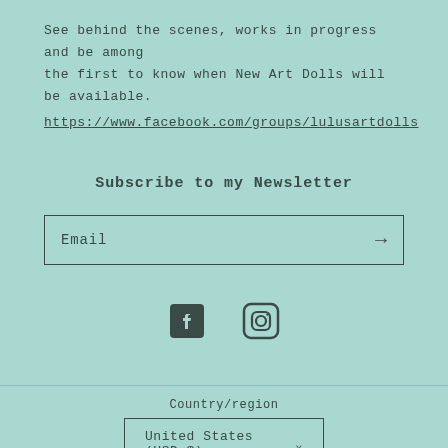See behind the scenes, works in progress and be among the first to know when New Art Dolls will be available.
https://www.facebook.com/groups/lulusartdolls
Subscribe to my Newsletter
Email
[Figure (infographic): Facebook and Instagram social media icons]
Country/region
United States (USD $)